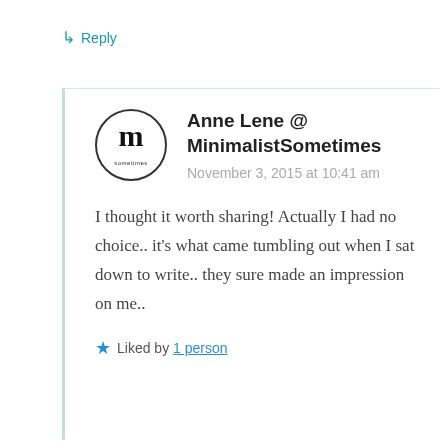↳ Reply
Anne Lene @ MinimalistSometimes
November 3, 2015 at 10:41 am
I thought it worth sharing! Actually I had no choice.. it's what came tumbling out when I sat down to write.. they sure made an impression on me..
Liked by 1 person